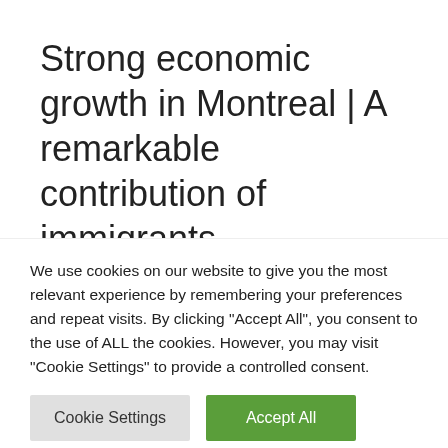Strong economic growth in Montreal | A remarkable contribution of immigrants
Leave a Comment / Business / By support
Posted yesterday at 7:30 am There is a lot of talk about
We use cookies on our website to give you the most relevant experience by remembering your preferences and repeat visits. By clicking "Accept All", you consent to the use of ALL the cookies. However, you may visit "Cookie Settings" to provide a controlled consent.